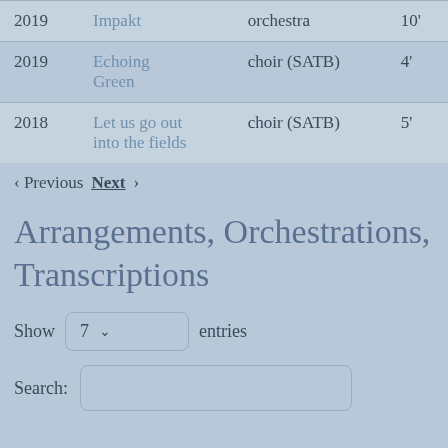| Year | Title | Instrumentation | Duration |
| --- | --- | --- | --- |
| 2019 | Impakt | orchestra | 10' |
| 2019 | Echoing Green | choir (SATB) | 4' |
| 2018 | Let us go out into the fields | choir (SATB) | 5' |
< Previous  Next >
Arrangements, Orchestrations, Transcriptions
Show 7 entries
Search: